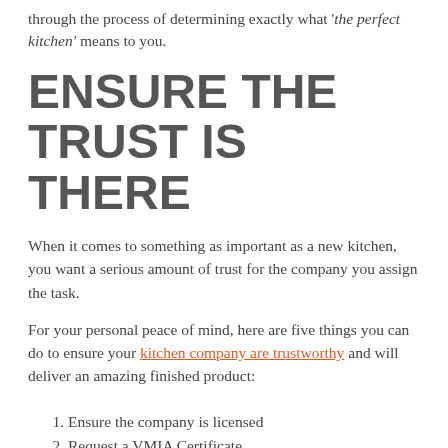through the process of determining exactly what 'the perfect kitchen' means to you.
ENSURE THE TRUST IS THERE
When it comes to something as important as a new kitchen, you want a serious amount of trust for the company you assign the task.
For your personal peace of mind, here are five things you can do to ensure your kitchen company are trustworthy and will deliver an amazing finished product:
Ensure the company is licensed
Request a VMIA Certificate